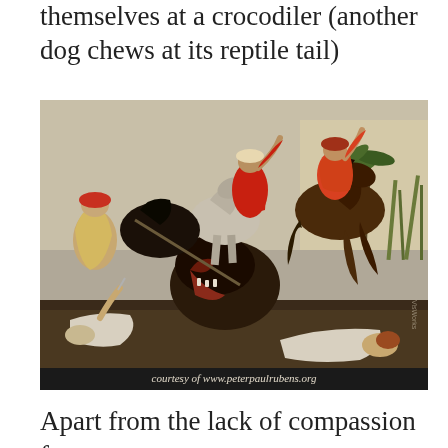themselves at a crocodiler (another dog chews at its reptile tail)
[Figure (photo): Painting of a hippopotamus and crocodile hunt scene by Peter Paul Rubens, showing turbaned hunters on horseback and figures being attacked by a large animal, rendered in dramatic Baroque style. Caption bar reads: courtesy of www.peterpaulrubens.org]
Apart from the lack of compassion for